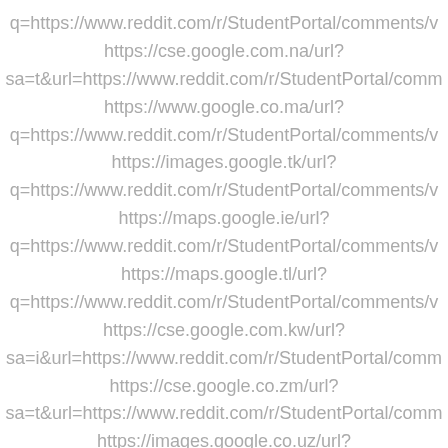q=https://www.reddit.com/r/StudentPortal/comments/v
https://cse.google.com.na/url?
sa=t&url=https://www.reddit.com/r/StudentPortal/comm
https://www.google.co.ma/url?
q=https://www.reddit.com/r/StudentPortal/comments/v
https://images.google.tk/url?
q=https://www.reddit.com/r/StudentPortal/comments/v
https://maps.google.ie/url?
q=https://www.reddit.com/r/StudentPortal/comments/v
https://maps.google.tl/url?
q=https://www.reddit.com/r/StudentPortal/comments/v
https://cse.google.com.kw/url?
sa=i&url=https://www.reddit.com/r/StudentPortal/comm
https://cse.google.co.zm/url?
sa=t&url=https://www.reddit.com/r/StudentPortal/comm
https://images.google.co.uz/url?